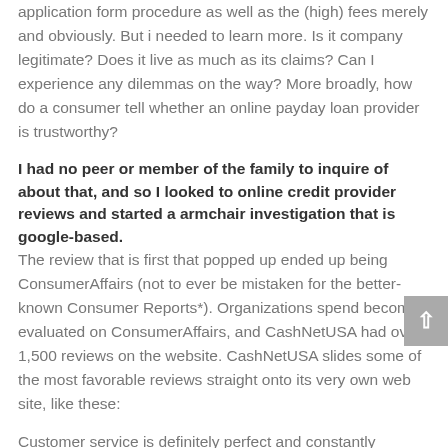application form procedure as well as the (high) fees merely and obviously. But i needed to learn more. Is it company legitimate? Does it live as much as its claims? Can I experience any dilemmas on the way? More broadly, how do a consumer tell whether an online payday loan provider is trustworthy?
I had no peer or member of the family to inquire of about that, and so I looked to online credit provider reviews and started a armchair investigation that is google-based. The review that is first that popped up ended up being ConsumerAffairs (not to ever be mistaken for the better-known Consumer Reports*). Organizations spend become evaluated on ConsumerAffairs, and CashNetUSA had over 1,500 reviews on the website. CashNetUSA slides some of the most favorable reviews straight onto its very own web site, like these:
Customer service is definitely perfect and constantly